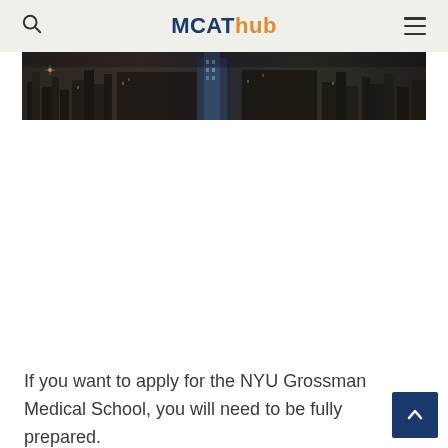MCAThub
[Figure (photo): Aerial/panoramic view of a city skyline at dusk or night, with buildings and lights, dark toned photograph spanning the width of the content area.]
If you want to apply for the NYU Grossman Medical School, you will need to be fully prepared.